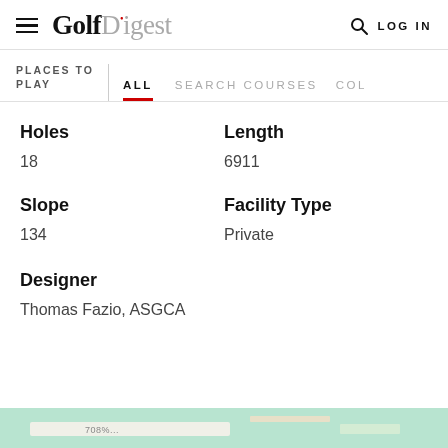Golf Digest — LOG IN
PLACES TO PLAY | ALL | SEARCH COURSES | COL
Holes
18
Length
6911
Slope
134
Facility Type
Private
Designer
Thomas Fazio, ASGCA
[Figure (map): Map strip at bottom of page showing teal/blue map background with road markings]